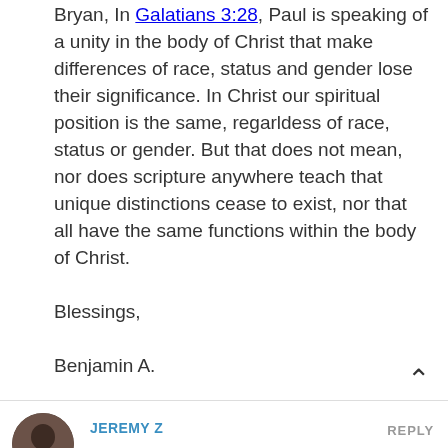Bryan, In Galatians 3:28, Paul is speaking of a unity in the body of Christ that make differences of race, status and gender lose their significance. In Christ our spiritual position is the same, regarldess of race, status or gender. But that does not mean, nor does scripture anywhere teach that unique distinctions cease to exist, nor that all have the same functions within the body of Christ.

Blessings,

Benjamin A.
[Figure (photo): Avatar/profile photo of commenter Jeremy Z, showing a person's face, circular crop]
JEREMY Z
REPLY